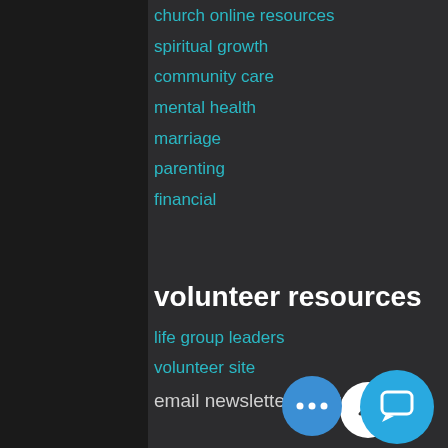church online resources
spiritual growth
community care
mental health
marriage
parenting
financial
volunteer resources
life group leaders
volunteer site
email newsletter signup
[Figure (other): White circular button with upward chevron arrow icon]
[Figure (other): Blue circular button with three dots (more options)]
[Figure (other): Blue circular chat/message button]